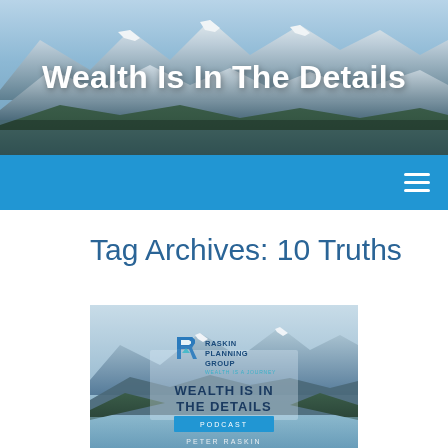[Figure (photo): Mountain lake landscape with snowy peaks — header background image]
Wealth Is In The Details
Navigation menu (hamburger icon)
Tag Archives: 10 Truths
[Figure (illustration): Raskin Planning Group podcast cover art: 'Wealth Is In The Details Podcast' by Peter Raskin, mountain lake background with logo]